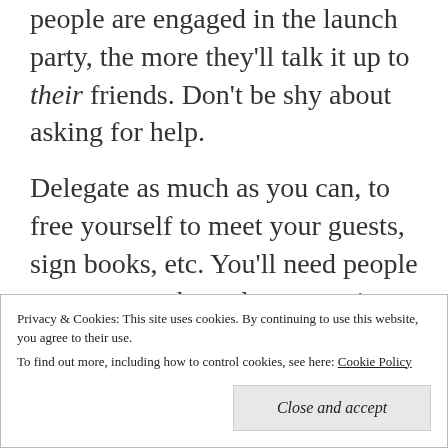people are engaged in the launch party, the more they'll talk it up to their friends. Don't be shy about asking for help.
Delegate as much as you can, to free yourself to meet your guests, sign books, etc. You'll need people to greet people as they come in, give away raffle tickets for door prizes, serve refreshments, take
Privacy & Cookies: This site uses cookies. By continuing to use this website, you agree to their use.
To find out more, including how to control cookies, see here: Cookie Policy
Close and accept